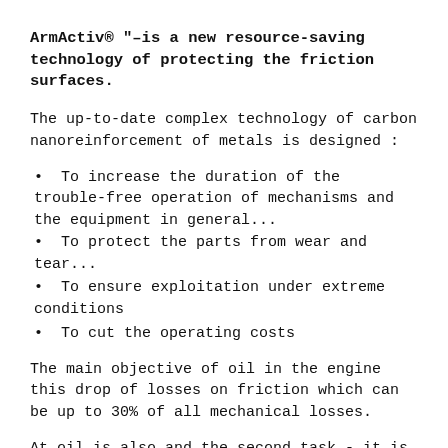ArmActiv® "–is a new resource-saving technology of protecting the friction surfaces.
The up-to-date complex technology of carbon nanoreinforcement of metals is designed :
To increase the duration of the trouble-free operation of mechanisms and the equipment in general...
To protect the parts from wear and tear...
To ensure exploitation under extreme conditions
To cut the operating costs
The main objective of oil in the engine this drop of losses on friction which can be up to 30% of all mechanical losses.
At oil is also and the second task - it is drop of wear, the enemy No 1 of all existing gears.